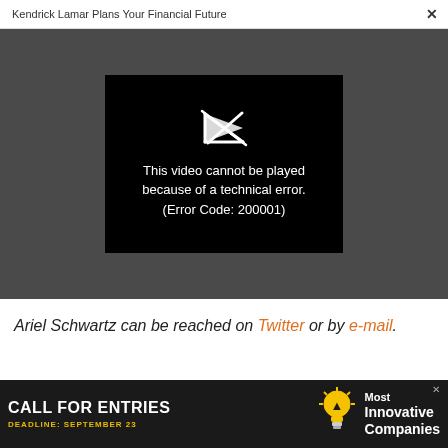Kendrick Lamar Plans Your Financial Future  ×
[Figure (screenshot): Black video player box with broken play icon (crossed out arrow) and error message: 'This video cannot be played because of a technical error. (Error Code: 200001)' on a dark gray background.]
Ariel Schwartz can be reached on Twitter or by e-mail.
[Figure (infographic): Dark advertisement banner: 'CALL FOR ENTRIES DEADLINE: SEPTEMBER 23' with lightbulb icon and 'Most Innovative Companies' text on right.]